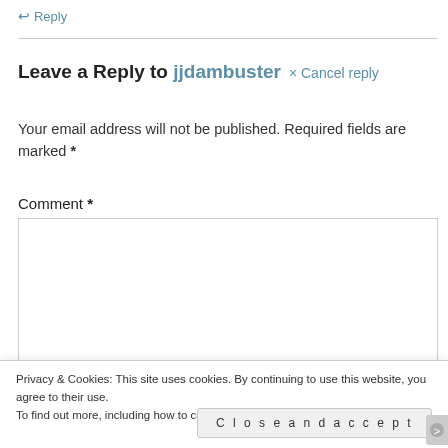↩ Reply
Leave a Reply to jjdambuster  × Cancel reply
Your email address will not be published. Required fields are marked *
Comment *
Privacy & Cookies: This site uses cookies. By continuing to use this website, you agree to their use.
To find out more, including how to control cookies, see here: Cookie Policy
Close and accept